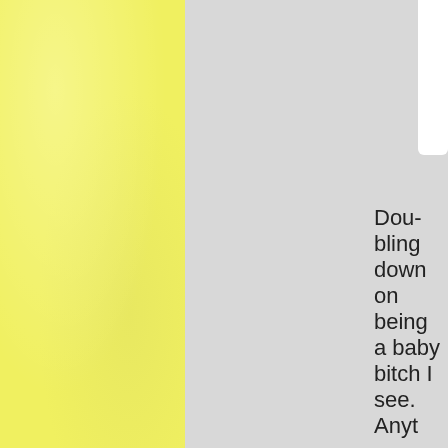Doubling down on being a baby bitch I see. Anyt